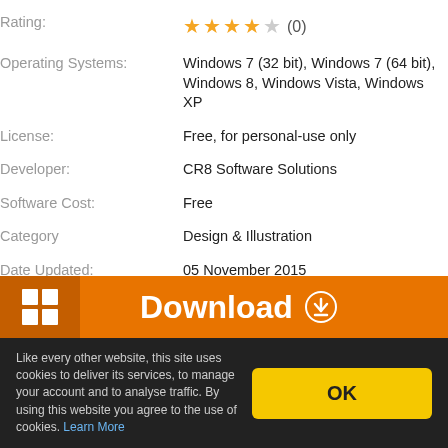| Rating: | ★★★★☆ (0) |
| Operating Systems: | Windows 7 (32 bit), Windows 7 (64 bit), Windows 8, Windows Vista, Windows XP |
| License: | Free, for personal-use only |
| Developer: | CR8 Software Solutions |
| Software Cost: | Free |
| Category | Design & Illustration |
| Date Updated: | 05 November 2015 |
| Downloads To Date: | 2611 |
| Languages: | English |
| Download Size: | 2.98 MB |
[Figure (screenshot): Orange download button bar with Windows logo icon and Download text with arrow icon]
Like every other website, this site uses cookies to deliver its services, to manage your account and to analyse traffic. By using this website you agree to the use of cookies. Learn More